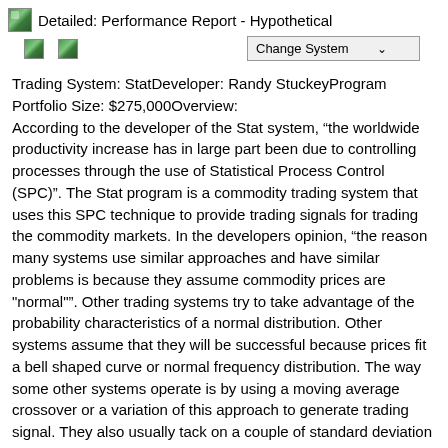Detailed: Performance Report - Hypothetical
Trading System: StatDeveloper: Randy StuckeyProgram Portfolio Size: $275,000Overview: According to the developer of the Stat system, “the worldwide productivity increase has in large part been due to controlling processes through the use of Statistical Process Control (SPC)”. The Stat program is a commodity trading system that uses this SPC technique to provide trading signals for trading the commodity markets. In the developers opinion, “the reason many systems use similar approaches and have similar problems is because they assume commodity prices are "normal"”. Other trading systems try to take advantage of the probability characteristics of a normal distribution. Other systems assume that they will be successful because prices fit a bell shaped curve or normal frequency distribution. The way some other systems operate is by using a moving average crossover or a variation of this approach to generate trading signal. They also usually tack on a couple of standard deviation on the Bollinger bands to try to keep from taking too many false trades. The STAT system follows a principal that commodity prices do not form normal distributions. STAT does not follow what other systems key off to generate its trading signals. In addition, we do not base our assumptions on a...